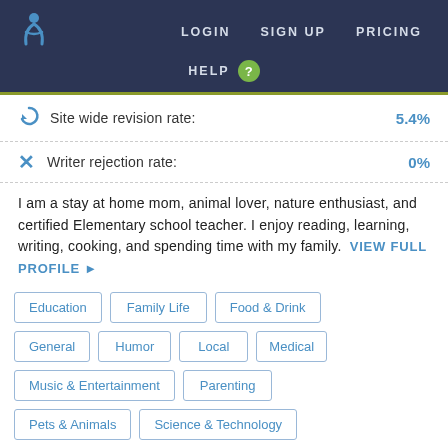LOGIN  SIGN UP  PRICING  HELP ?
Site wide revision rate: 5.4%
Writer rejection rate: 0%
I am a stay at home mom, animal lover, nature enthusiast, and certified Elementary school teacher. I enjoy reading, learning, writing, cooking, and spending time with my family.  VIEW FULL PROFILE ▶
Education
Family Life
Food & Drink
General
Humor
Local
Medical
Music & Entertainment
Parenting
Pets & Animals
Science & Technology